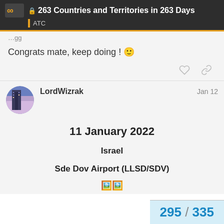263 Countries and Territories in 263 Days | ATC
Congrats mate, keep doing ! 🙂
LordWizrak  Jan 12
11 January 2022
Israel
Sde Dov Airport (LLSD/SDV)
295 / 335